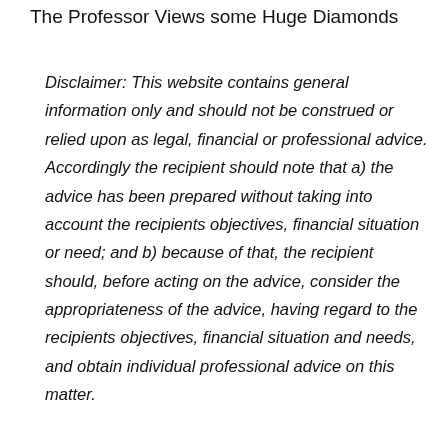The Professor Views some Huge Diamonds
Disclaimer: This website contains general information only and should not be construed or relied upon as legal, financial or professional advice. Accordingly the recipient should note that a) the advice has been prepared without taking into account the recipients objectives, financial situation or need; and b) because of that, the recipient should, before acting on the advice, consider the appropriateness of the advice, having regard to the recipients objectives, financial situation and needs, and obtain individual professional advice on this matter.